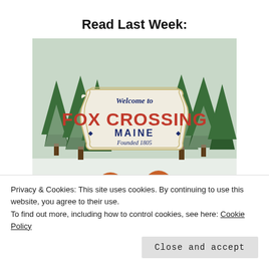Read Last Week:
[Figure (illustration): Book cover for 'Fox Crossing Maine, Founded 1805' showing a welcome sign with red lettering, snow-covered pine trees in the background, and a fox peering up from the bottom of the image.]
Privacy & Cookies: This site uses cookies. By continuing to use this website, you agree to their use.
To find out more, including how to control cookies, see here: Cookie Policy
Close and accept